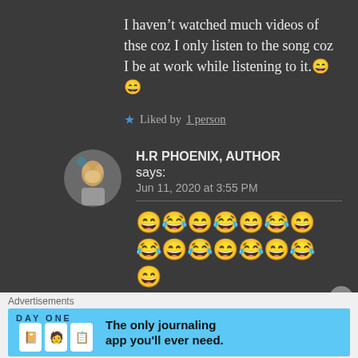I haven't watched much videos of thse coz I only listen to the song coz I be at work while listening to it.😄😄
★ Liked by 1 person
H.R PHOENIX, AUTHOR says:
Jun 11, 2020 at 3:55 PM
😄😂😄😂😄😂😄😂😄😂😄😂😄😂😄
😄
Advertisements
[Figure (screenshot): DAY ONE journaling app advertisement banner with blue background, app icons, and text 'The only journaling app you'll ever need.']